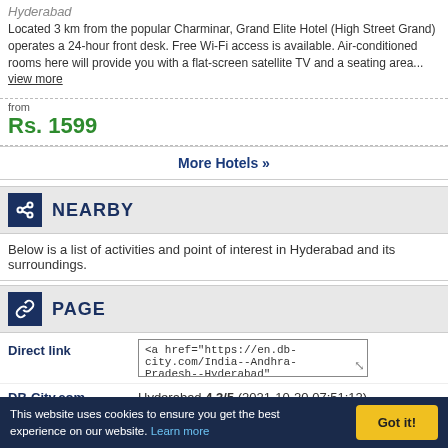Hyderabad
Located 3 km from the popular Charminar, Grand Elite Hotel (High Street Grand) operates a 24-hour front desk. Free Wi-Fi access is available. Air-conditioned rooms here will provide you with a flat-screen satellite TV and a seating area... view more
from
Rs. 1599
More Hotels »
NEARBY
Below is a list of activities and point of interest in Hyderabad and its surroundings.
PAGE
|  |  |
| --- | --- |
| Direct link | <a href="https://en.db-city.com/India--Andhra-Pradesh--Hyderabad" title="Hyderabad">Hyderabad</a> |
| DB-City.com | Hyderabad 4.3/5 (2021-10-20 07:51:12) |
DB-CITY
Terms of Use
Update data
This website uses cookies to ensure you get the best experience on our website. Learn more